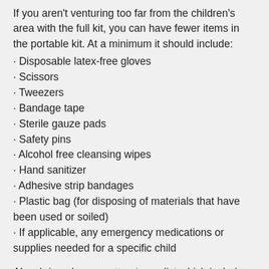If you aren't venturing too far from the children's area with the full kit, you can have fewer items in the portable kit. At a minimum it should include:
Disposable latex-free gloves
Scissors
Tweezers
Bandage tape
Sterile gauze pads
Safety pins
Alcohol free cleansing wipes
Hand sanitizer
Adhesive strip bandages
Plastic bag (for disposing of materials that have been used or soiled)
If applicable, any emergency medications or supplies needed for a specific child
Also, bring along an attendance list which includes the emergency contact information for each child. This not only helps you keep track of which children are with you, but provides the ability to quickly contact a parent in case of